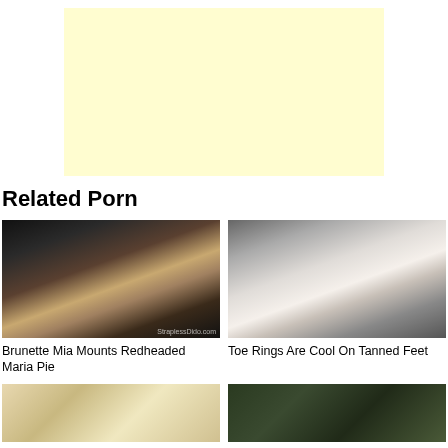[Figure (other): Yellow/cream colored advertisement block placeholder]
Related Porn
[Figure (photo): Thumbnail image - Brunette Mia Mounts Redheaded Maria Pie]
Brunette Mia Mounts Redheaded Maria Pie
[Figure (photo): Thumbnail image - Toe Rings Are Cool On Tanned Feet]
Toe Rings Are Cool On Tanned Feet
[Figure (photo): Bottom left thumbnail image]
[Figure (photo): Bottom right thumbnail image]